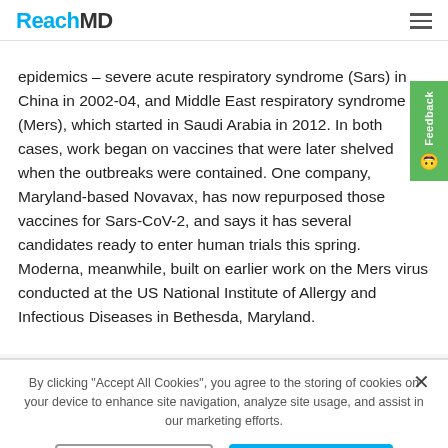ReachMD
epidemics – severe acute respiratory syndrome (Sars) in China in 2002-04, and Middle East respiratory syndrome (Mers), which started in Saudi Arabia in 2012. In both cases, work began on vaccines that were later shelved when the outbreaks were contained. One company, Maryland-based Novavax, has now repurposed those vaccines for Sars-CoV-2, and says it has several candidates ready to enter human trials this spring. Moderna, meanwhile, built on earlier work on the Mers virus conducted at the US National Institute of Allergy and Infectious Diseases in Bethesda, Maryland.
By clicking "Accept All Cookies", you agree to the storing of cookies on your device to enhance site navigation, analyze site usage, and assist in our marketing efforts.
Cookies Settings
Accept All Cookies